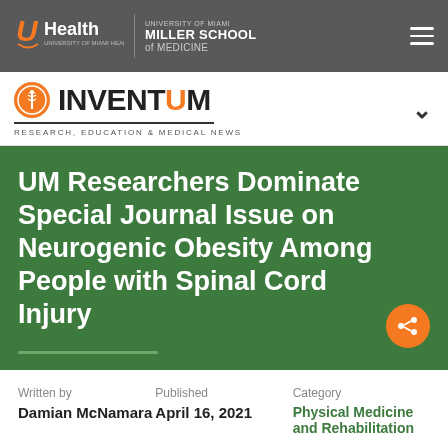UHealth | University of Miami Miller School of Medicine
[Figure (logo): INVENTUM logo with caduceus badge, subtitle: RESEARCH, EDUCATION & MEDICAL NEWS]
UM Researchers Dominate Special Journal Issue on Neurogenic Obesity Among People with Spinal Cord Injury
Written by
Damian McNamara
Published
April 16, 2021
Category
Physical Medicine and Rehabilitation